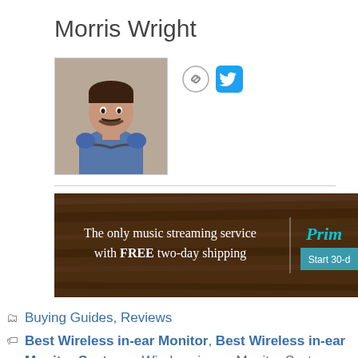Morris Wright
[Figure (photo): Profile photo of Morris Wright, a man with dark hair and beard wearing a blue t-shirt with arms crossed, social media icons (link and Twitter) next to photo]
[Figure (infographic): Advertisement banner with dark wood texture background. Text reads: The only music streaming service with FREE two-day shipping | Prim... | Start 30-...]
Buying Guides, Reviews
Best Wireless in-ear Monitor, Best Wireless in-ear Monitor Systems, Wireless in-ear Monitor Systems
< Best Open-back Headphones under $100
> How to Spin a Drumstick